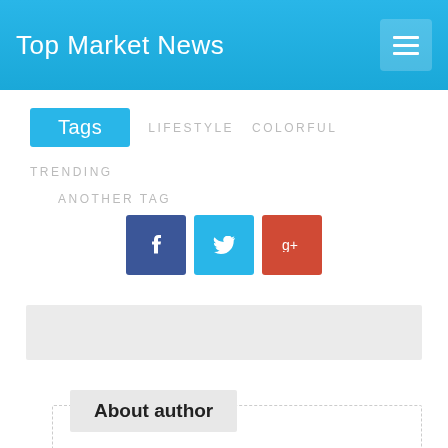Top Market News
Tags   LIFESTYLE   COLORFUL   TRENDING   ANOTHER TAG
[Figure (other): Three social share icon buttons: Facebook (dark blue), Twitter (light blue), Google+ (red-orange)]
[Figure (other): Gray advertisement strip/banner placeholder]
About author
Jessica